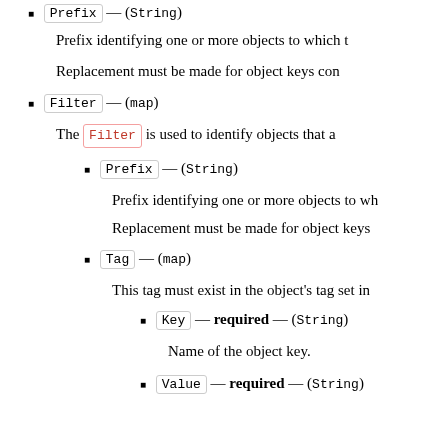Prefix — (String)
Prefix identifying one or more objects to which t
Replacement must be made for object keys con
Filter — (map)
The Filter is used to identify objects that a
Prefix — (String)
Prefix identifying one or more objects to wh
Replacement must be made for object keys
Tag — (map)
This tag must exist in the object's tag set in
Key — required — (String)
Name of the object key.
Value — required — (String)